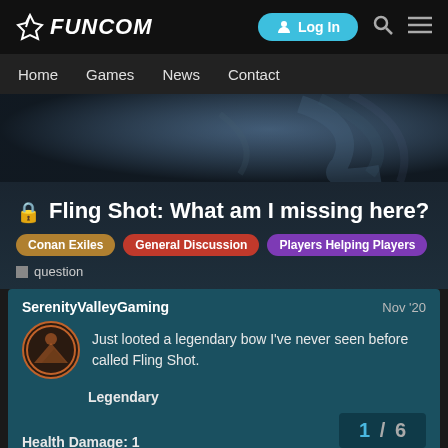FUNCOM — Log In
Home  Games  News  Contact
🔒 Fling Shot: What am I missing here?
Conan Exiles
General Discussion
Players Helping Players
question
SerenityValleyGaming  Nov '20
Just looted a legendary bow I've never seen before called Fling Shot.
Legendary
Health Damage: 1
1 / 6